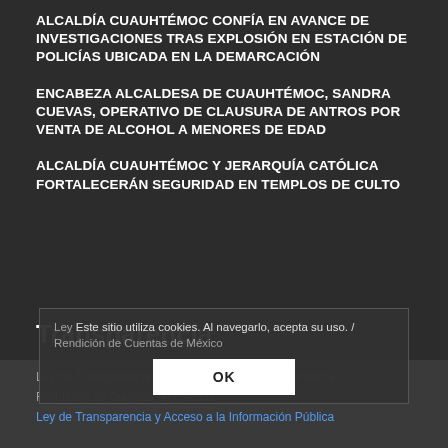ALCALDÍA CUAUHTÉMOC CONFÍA EN AVANCE DE INVESTIGACIONES TRAS EXPLOSIÓN EN ESTACIÓN DE POLICÍAS UBICADA EN LA DEMARCACIÓN
ENCABEZA ALCALDESA DE CUAUHTÉMOC, SANDRA CUEVAS, OPERATIVO DE CLAUSURA DE ANTROS POR VENTA DE ALCOHOL A MENORES DE EDAD
ALCALDÍA CUAUHTÉMOC Y JERARQUÍA CATÓLICA FORTALECERÁN SEGURIDAD EN TEMPLOS DE CULTO
Transparencia
Ley Este sitio utiliza cookies. Al navegarlo, acepta su uso. / Rendición de Cuentas de México
OK
Ley de Transparencia y Acceso a la Información Pública